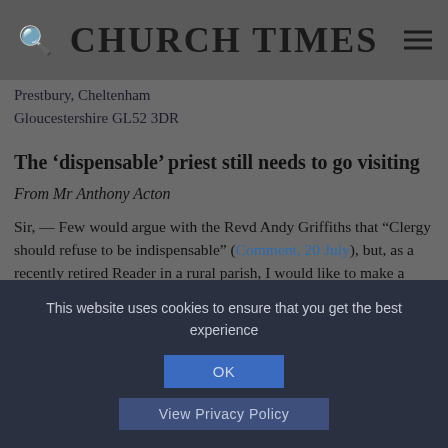CHURCH TIMES
Prestbury, Cheltenham
Gloucestershire GL52 3DR
The 'dispensable' priest still needs to go visiting
From Mr Anthony Acton
Sir, — Few would argue with the Revd Andy Griffiths that "Clergy should refuse to be indispensable" (Comment, 20 July), but, as a recently retired Reader in a rural parish, I would like to make a couple of points.
This website uses cookies to ensure that you get the best experience
OK
View Privacy Policy